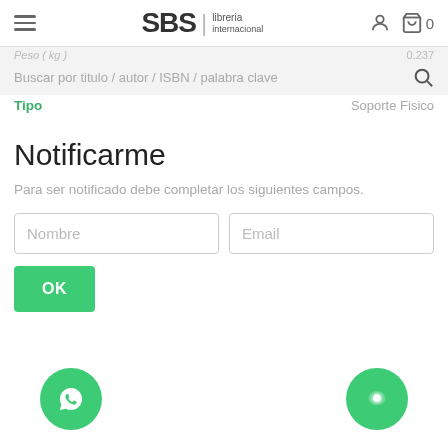SBS libreria internacional
Buscar por titulo / autor / ISBN / palabra clave
Peso (kg)  0.237
Tipo  Soporte Fisico
Notificarme
Para ser notificado debe completar los siguientes campos.
[Figure (screenshot): Form with two input fields labeled Nombre and Email, and a green OK button below.]
[Figure (infographic): Two green circular floating action buttons: WhatsApp icon on the left, chat bubble icon on the right.]